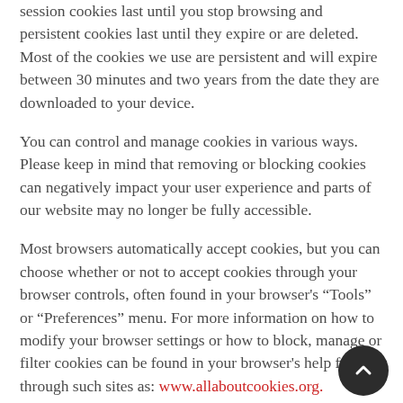session cookies last until you stop browsing and persistent cookies last until they expire or are deleted. Most of the cookies we use are persistent and will expire between 30 minutes and two years from the date they are downloaded to your device.
You can control and manage cookies in various ways. Please keep in mind that removing or blocking cookies can negatively impact your user experience and parts of our website may no longer be fully accessible.
Most browsers automatically accept cookies, but you can choose whether or not to accept cookies through your browser controls, often found in your browser's “Tools” or “Preferences” menu. For more information on how to modify your browser settings or how to block, manage or filter cookies can be found in your browser's help file or through such sites as: www.allaboutcookies.org.
Additionally, please note that blocking cookies may not completely prevent how we share information with third